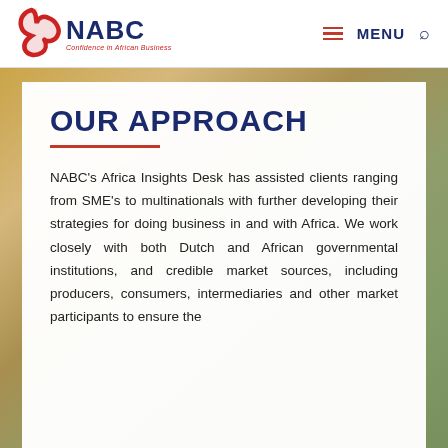NABC — Confidence in African Business — MENU
OUR APPROACH
NABC's Africa Insights Desk has assisted clients ranging from SME's to multinationals with further developing their strategies for doing business in and with Africa. We work closely with both Dutch and African governmental institutions, and credible market sources, including producers, consumers, intermediaries and other market participants to ensure the